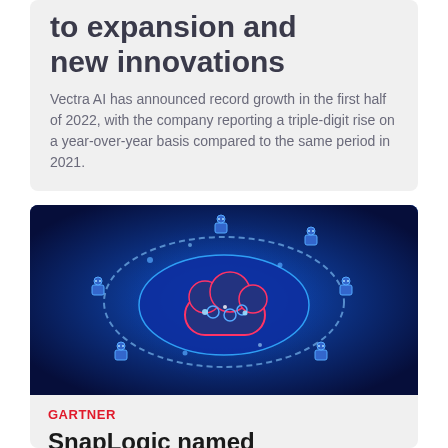to expansion and new innovations
Vectra AI has announced record growth in the first half of 2022, with the company reporting a triple-digit rise on a year-over-year basis compared to the same period in 2021.
[Figure (illustration): A glowing blue futuristic digital cloud icon with circuit patterns, surrounded by small robot/gear figures on a dark blue background, resembling a technology concept illustration.]
GARTNER
SnapLogic named Visionary in two Magic Quadrant